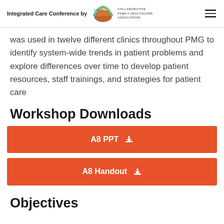Integrated Care Conference by CFHA Collaborative Family Healthcare Association
was used in twelve different clinics throughout PMG to identify system-wide trends in patient problems and explore differences over time to develop patient resources, staff trainings, and strategies for patient care
Workshop Downloads
A8 PPT ⬇
A8 Handout ⬇
Objectives